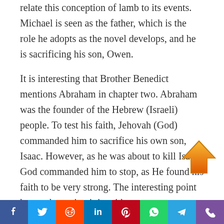relate this conception of lamb to its events. Michael is seen as the father, which is the role he adopts as the novel develops, and he is sacrificing his son, Owen.
It is interesting that Brother Benedict mentions Abraham in chapter two. Abraham was the founder of the Hebrew (Israeli) people. To test his faith, Jehovah (God) commanded him to sacrifice his own son, Isaac. However, as he was about to kill Isaac, God commanded him to stop, as He found his faith to be very strong. The interesting point here, when tying it in with
[Figure (other): Orange upward arrow scroll-to-top button overlay in the bottom-right of the content area]
[Figure (infographic): Social sharing bar with icons for Facebook, Twitter, Reddit, LinkedIn, Pinterest, WhatsApp, Telegram, and Viber]